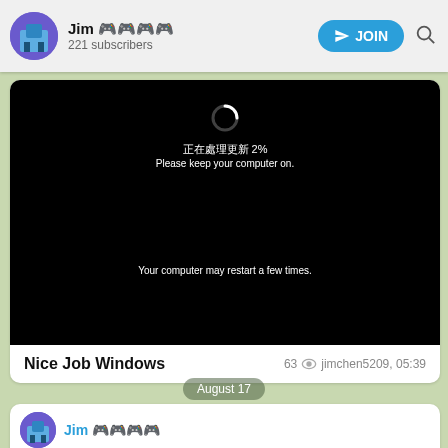Jim 🎮🎮🎮🎮 — 221 subscribers
[Figure (screenshot): Windows update screen on black background showing spinner, Chinese text '正在處理更新 2%', 'Please keep your computer on', and 'Your computer may restart a few times.']
Nice Job Windows   63 👁 jimchen5209, 05:39
August 17
Jim 🎮🎮🎮🎮
[Figure (screenshot): Windows 11 promotional image with blue swirl background and large white bold text 'NEW BUILD']